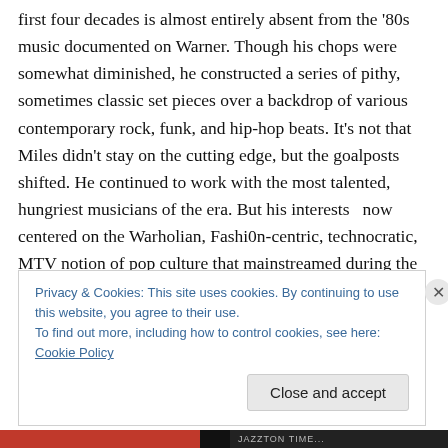first four decades is almost entirely absent from the '80s music documented on Warner. Though his chops were somewhat diminished, he constructed a series of pithy, sometimes classic set pieces over a backdrop of various contemporary rock, funk, and hip-hop beats. It's not that Miles didn't stay on the cutting edge, but the goalposts shifted. He continued to work with the most talented, hungriest musicians of the era. But his interests  now centered on the Warholian, Fashi0n-centric, technocratic, MTV notion of pop culture that mainstreamed during the Reagan era. To my admittedly idiosyncratic way of looking
Privacy & Cookies: This site uses cookies. By continuing to use this website, you agree to their use.
To find out more, including how to control cookies, see here: Cookie Policy
Close and accept